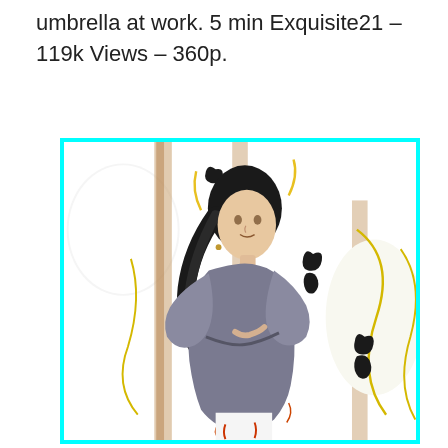umbrella at work. 5 min Exquisite21 – 119k Views – 360p.
[Figure (illustration): Illustrated/stylized image of a young woman with long dark hair wearing a loose grey top, standing in front of a background featuring large cello-like instruments with yellow outlines, framed by a cyan border.]